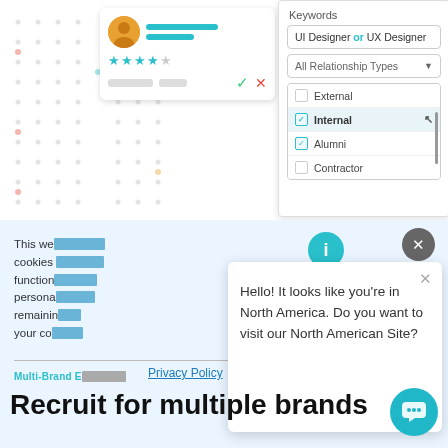[Figure (screenshot): UI screenshot showing a candidate profile card with avatar, rating stars, action buttons on the left, and a keyword search panel on the right with 'UI Designer or UX Designer' query, 'All Relationship Types' dropdown, and a checkbox list showing External, Internal (highlighted), Alumni, and Contractor options]
Keywords
UI Designer or UX Designer
All Relationship Types
External
Internal
Alumni
Contractor
This we... cookies ... function... persona... remaining... your co...
Hello! It looks like you're in North America. Do you want to visit our North American Site?
Multi-Brand E...
Privacy Policy
Recruit for multiple brands